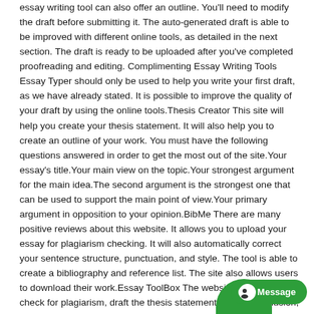essay writing tool can also offer an outline. You'll need to modify the draft before submitting it. The auto-generated draft is able to be improved with different online tools, as detailed in the next section. The draft is ready to be uploaded after you've completed proofreading and editing. Complimenting Essay Writing Tools Essay Typer should only be used to help you write your first draft, as we have already stated. It is possible to improve the quality of your draft by using the online tools.Thesis Creator This site will help you create your thesis statement. It will also help you to create an outline of your work. You must have the following questions answered in order to get the most out of the site.Your essay's title.Your main view on the topic.Your strongest argument for the main idea.The second argument is the strongest one that can be used to support the main point of view.Your primary argument in opposition to your opinion.BibMe There are many positive reviews about this website. It allows you to upload your essay for plagiarism checking. It will also automatically correct your sentence structure, punctuation, and style. The tool is able to create a bibliography and reference list. The site also allows users to download their work.Essay ToolBox The website can be used to check for plagiarism, draft the thesis statement, dev or conclusion, convert essay phrases into pages, and rectify